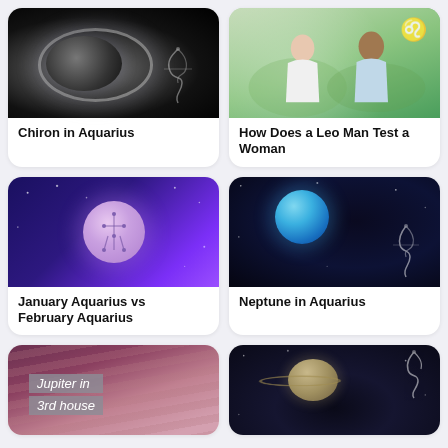[Figure (photo): Dark space image with planet/moon and ring, Aquarius zodiac outline, for Chiron in Aquarius article]
Chiron in Aquarius
[Figure (photo): Two young people sitting in a park playing cards, Leo zodiac symbol in corner, for How Does a Leo Man Test a Woman article]
How Does a Leo Man Test a Woman
[Figure (illustration): Deep blue/purple space background with glowing Aquarius constellation circle, for January Aquarius vs February Aquarius article]
January Aquarius vs February Aquarius
[Figure (photo): Space image with blue Neptune planet and Aquarius outline, for Neptune in Aquarius article]
Neptune in Aquarius
[Figure (photo): Pink/purple swirling cosmic background with text overlay: Jupiter in 3rd house]
[Figure (photo): Dark space image with Saturn and rings, Aquarius outline, partially visible]